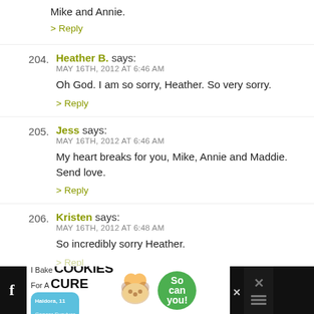Mike and Annie.
> Reply
204. Heather B. says:
MAY 16TH, 2012 AT 6:46 AM
Oh God. I am so sorry, Heather. So very sorry.
> Reply
205. Jess says:
MAY 16TH, 2012 AT 6:46 AM
My heart breaks for you, Mike, Annie and Maddie. Send love.
> Reply
206. Kristen says:
MAY 16TH, 2012 AT 6:48 AM
So incredibly sorry Heather.
> Reply
[Figure (other): Advertisement banner: I Bake COOKIES For A CURE with cookies for kids cancer badge and So can you! text, with close button and navigation icons]